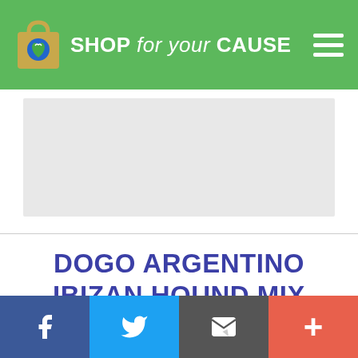SHOP for your CAUSE
[Figure (other): Advertisement placeholder — light grey rectangle]
DOGO ARGENTINO IBIZAN HOUND MIX HEALTH
Social share bar: Facebook, Twitter, Email, Plus